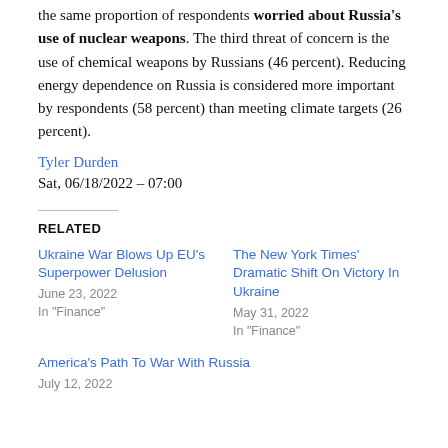the same proportion of respondents worried about Russia's use of nuclear weapons. The third threat of concern is the use of chemical weapons by Russians (46 percent). Reducing energy dependence on Russia is considered more important by respondents (58 percent) than meeting climate targets (26 percent).
Tyler Durden
Sat, 06/18/2022 – 07:00
RELATED
Ukraine War Blows Up EU's Superpower Delusion
June 23, 2022
In "Finance"
The New York Times' Dramatic Shift On Victory In Ukraine
May 31, 2022
In "Finance"
America's Path To War With Russia
July 12, 2022